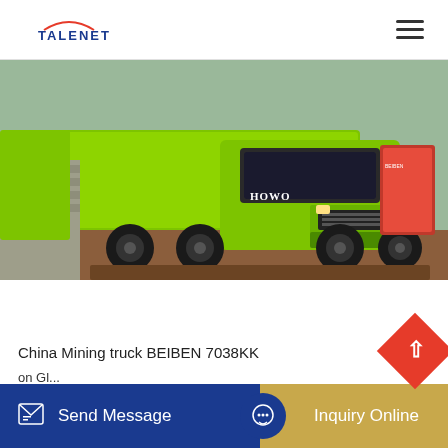TALENET
[Figure (photo): Green HOWO/BEIBEN heavy-duty mining dump truck parked in front of a building, with a red promotional board on the right side. The truck is bright lime green with black wheels.]
China Mining truck BEIBEN 7038KK
on Gl...
...sources, mining truck, tipper, dump truck...